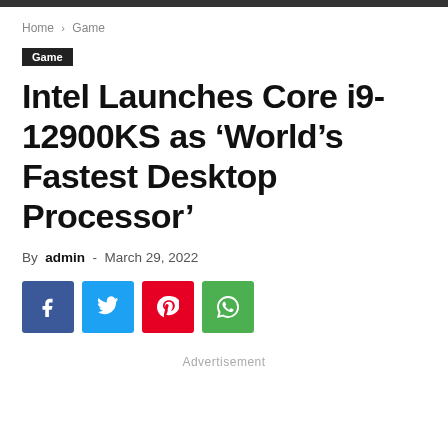Home › Game
Game
Intel Launches Core i9-12900KS as 'World's Fastest Desktop Processor'
By admin - March 29, 2022
[Figure (other): Social share buttons: Facebook, Twitter, Pinterest, WhatsApp]
Advertisement